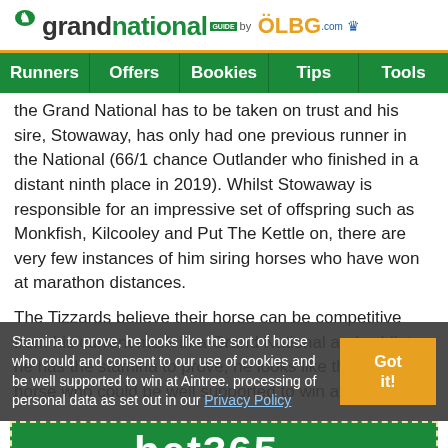[Figure (logo): Grand National Guide by OLBG logo with green horse jumping silhouette]
Runners | Offers | Bookies | Tips | Tools
the Grand National has to be taken on trust and his sire, Stowaway, has only had one previous runner in the National (66/1 chance Outlander who finished in a distant ninth place in 2019). Whilst Stowaway is responsible for an impressive set of offspring such as Monkfish, Kilcooley and Put The Kettle on, there are very few instances of him siring horses who have won at marathon distances.
The Tizzards believe their horse can be competitive from his current mark in a Grand National and, whilst he has the stamina to prove, he looks like the sort of horse who could be well supported to win at Aintree.
Stamina to prove, he looks like the sort of horse who could and consent to our use of cookies and be well supported to win at Aintree. processing of personal data as set out in our Privacy Policy
[Figure (screenshot): Bottom promotional banner with green background and dashed border, showing partial bet365 or similar bookmaker logo text]